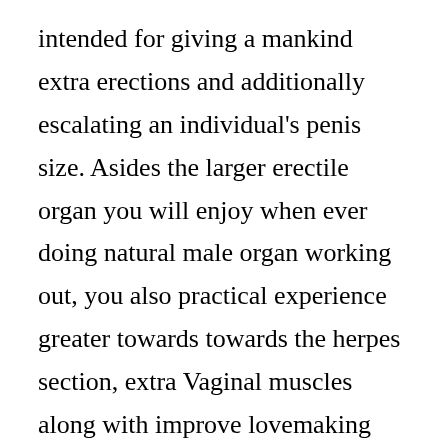intended for giving a mankind extra erections and additionally escalating an individual's penis size. Asides the larger erectile organ you will enjoy when ever doing natural male organ working out, you also practical experience greater towards towards the herpes section, extra Vaginal muscles along with improve lovemaking strength to have people getting hrs while having sex.
Engaging in healthy male organ work outs could quite possibly offer you approximately